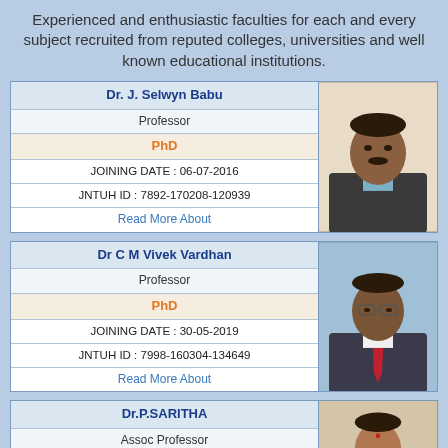Experienced and enthusiastic faculties for each and every subject recruited from reputed colleges, universities and well known educational institutions.
| Field | Value |
| --- | --- |
| Name | Dr. J. Selwyn Babu |
| Title | Professor |
| Degree | PhD |
| Joining Date | JOINING DATE : 06-07-2016 |
| JNTUH ID | JNTUH ID : 7892-170208-120939 |
| Link | Read More About |
[Figure (photo): Photo of Dr. J. Selwyn Babu, a man in a dark suit]
| Field | Value |
| --- | --- |
| Name | Dr C M Vivek Vardhan |
| Title | Professor |
| Degree | PhD |
| Joining Date | JOINING DATE : 30-05-2019 |
| JNTUH ID | JNTUH ID : 7998-160304-134649 |
| Link | Read More About |
[Figure (photo): Photo of Dr C M Vivek Vardhan, a man in a dark suit with red tie]
| Field | Value |
| --- | --- |
| Name | Dr.P.SARITHA |
| Title | Assoc Professor |
[Figure (photo): Photo of Dr. P. Saritha, a woman]